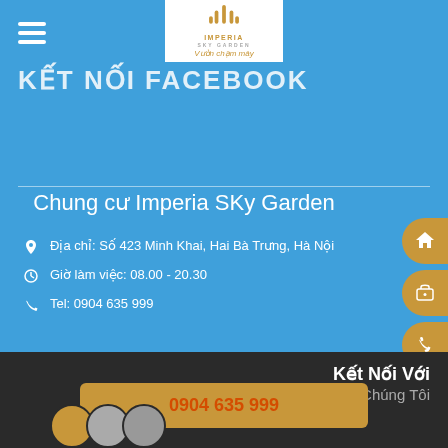[Figure (logo): Imperia Sky Garden logo with Vietnamese text 'Vườn chạm mây']
KẾT NỐI FACEBOOK
Chung cư Imperia SKy Garden
Địa chỉ: Số 423 Minh Khai, Hai Bà Trưng, Hà Nội
Giờ làm việc: 08.00 - 20.30
Tel: 0904 635 999
Chia sẻ 0   Tweet
Đánh giá cho bài viết
Kết Nối Với Chúng Tôi
0904 635 999